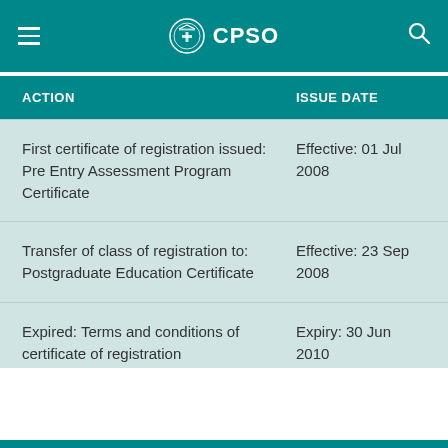CPSO
| ACTION | ISSUE DATE |
| --- | --- |
| First certificate of registration issued: Pre Entry Assessment Program Certificate | Effective: 01 Jul 2008 |
| Transfer of class of registration to: Postgraduate Education Certificate | Effective: 23 Sep 2008 |
| Expired: Terms and conditions of certificate of registration | Expiry: 30 Jun 2010 |